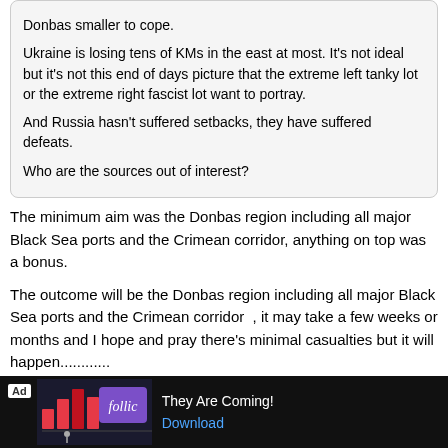Donbas smaller to cope.

Ukraine is losing tens of KMs in the east at most. It’s not ideal but it’s not this end of days picture that the extreme left tanky lot or the extreme right fascist lot want to portray.

And Russia hasn’t suffered setbacks, they have suffered defeats.

Who are the sources out of interest?
The minimum aim was the Donbas region including all major Black Sea ports and the Crimean corridor, anything on top was a bonus.
The outcome will be the Donbas region including all major Black Sea ports and the Crimean corridor  , it may take a few weeks or months and I hope and pray there’s minimal casualties but it will happen............
bayernoatcake
All Time Stoke City XI
May 24, 2022 at 11:24pm
thehartshillbadger likes this
prestwichpotter said:
bayernoatcake said:
[Figure (other): Advertisement banner: Follic game ad - They Are Coming! with Download button]